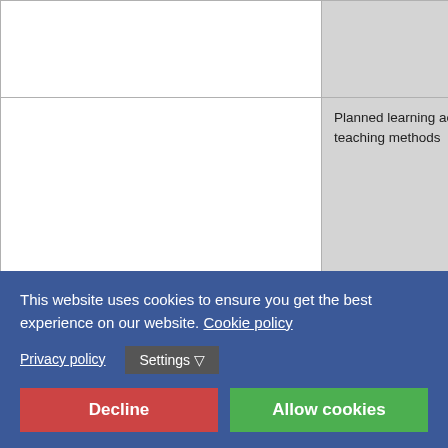|  | Planned learning activities and teaching methods |  |
| --- | --- | --- |
|  | Planned learning activities and teaching methods | Stu... the... Au... and... stu... To... un... for... sub... off... Stu... co... tim... su... |
|  | Assessment methods and criteria | Te... Fi... |
|  | Language of instruction | En... |
This website uses cookies to ensure you get the best experience on our website. Cookie policy
Privacy policy | Settings
Decline | Allow cookies